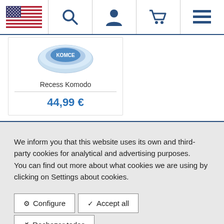[Figure (screenshot): Navigation bar with US flag, search icon, user icon, cart icon, and hamburger menu icon]
[Figure (photo): Product image showing Recess Komodo disc/object with blue branding]
Recess Komodo
44,99 €
We inform you that this website uses its own and third-party cookies for analytical and advertising purposes. You can find out more about what cookies we are using by clicking on Settings about cookies.
Configure
Accept all
Rechazar todas